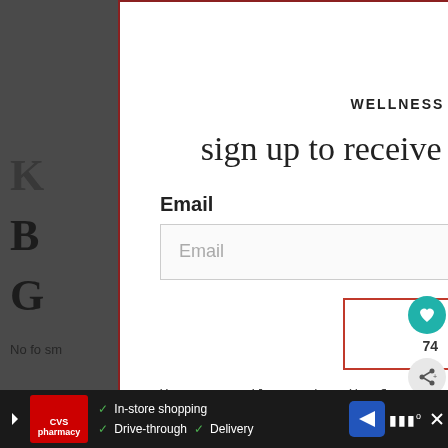[Figure (screenshot): Star rating widget showing 4.91 from 10 votes with 5 stars]
WELLNESS DIET RECIPES & DIY REMEDIES
sign up to receive recipes & updates every week!
Email
Email (input field placeholder)
SUBSCRIBE
You can easily unsubscribe from our mailing list at any time by clicking on the unsubscribe link at the bottom.
[Figure (screenshot): CVS Pharmacy advertisement bar at bottom showing in-store shopping, drive-through, and delivery options]